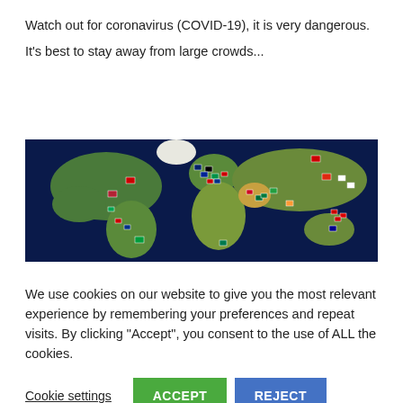Watch out for coronavirus (COVID-19), it is very dangerous.
It's best to stay away from large crowds...
Read More
[Figure (map): World map with country flags pinned to various locations showing COVID-19 affected countries across all continents.]
We use cookies on our website to give you the most relevant experience by remembering your preferences and repeat visits. By clicking "Accept", you consent to the use of ALL the cookies.
Cookie settings
ACCEPT
REJECT